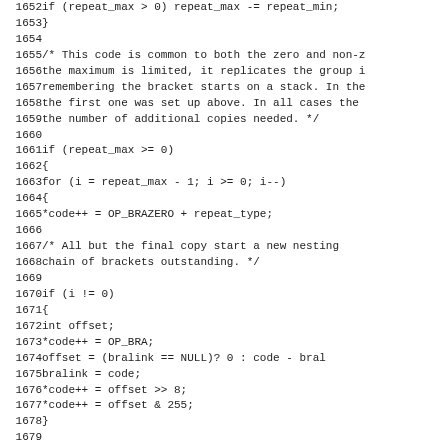[Figure (other): Source code listing in monospace font, lines 1652-1683, showing C code for regex repeat group handling including if statements, for loops, and memory operations]